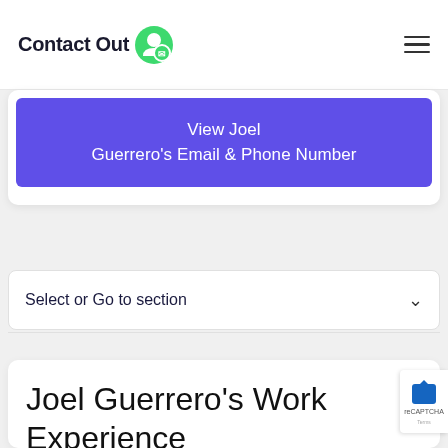Contact Out
View Joel Guerrero's Email & Phone Number
Select or Go to section
Joel Guerrero's Work Experience